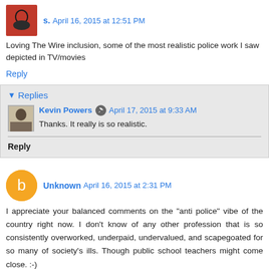s.  April 16, 2015 at 12:51 PM
Loving The Wire inclusion, some of the most realistic police work I saw depicted in TV/movies
Reply
▼ Replies
Kevin Powers  April 17, 2015 at 9:33 AM
Thanks. It really is so realistic.
Reply
Unknown  April 16, 2015 at 2:31 PM
I appreciate your balanced comments on the "anti police" vibe of the country right now. I don't know of any other profession that is so consistently overworked, underpaid, undervalued, and scapegoated for so many of society's ills. Though public school teachers might come close. :-)
Great picks! I watched several seasons of The Wire and